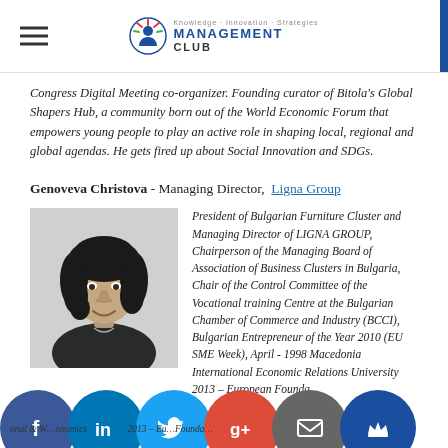Management Club
Congress Digital Meeting co-organizer. Founding curator of Bitola's Global Shapers Hub, a community born out of the World Economic Forum that empowers young people to play an active role in shaping local, regional and global agendas. He gets fired up about Social Innovation and SDGs.
Genoveva Christova - Managing Director, Ligna Group
[Figure (photo): Black and white portrait photo of Genoveva Christova]
President of Bulgarian Furniture Cluster and Managing Director of LIGNA GROUP, Chairperson of the Managing Board of Association of Business Clusters in Bulgaria, Chair of the Control Committee of the Vocational training Centre at the Bulgarian Chamber of Commerce and Industry (BCCI), Bulgarian Entrepreneur of the Year 2010 (EU SME Week), April - 1998 Macedonia International Economic Relations University 2013 – European Foundation & World Economics
Social media icons: Facebook, LinkedIn, Twitter, Google+, Email, Crown